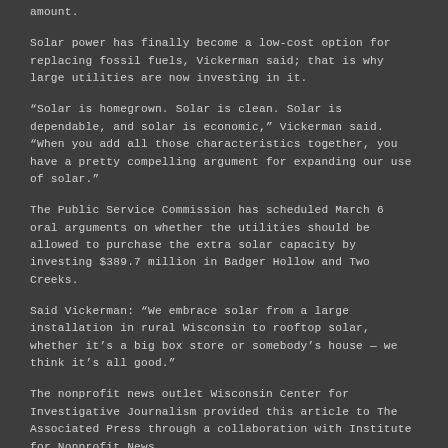amount.
Solar power has finally become a low-cost option for replacing fossil fuels, Vickerman said; that is why large utilities are now investing in it.
“Solar is homegrown. Solar is clean. Solar is dependable, and solar is economic,” Vickerman said. “When you add all those characteristics together, you have a pretty compelling argument for expanding our use of solar.”
The Public Service Commission has scheduled March 6 oral arguments on whether the utilities should be allowed to purchase the extra solar capacity by investing $389.7 million in Badger Hollow and Two Creeks.
Said Vickerman: “We embrace solar from a large installation in rural Wisconsin to rooftop solar, whether it’s a big box store or somebody’s house — we think it’s all good.”
The nonprofit news outlet Wisconsin Center for Investigative Journalism provided this article to The Associated Press through a collaboration with Institute for Nonprofit News.